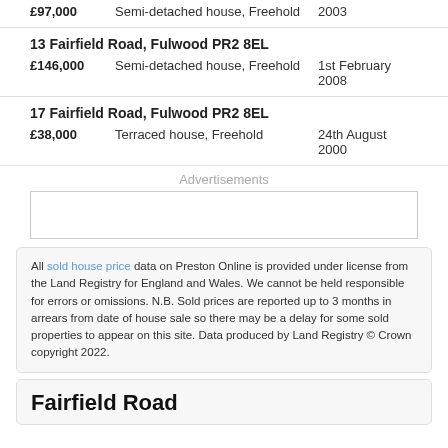£97,000   Semi-detached house, Freehold   2003
13 Fairfield Road, Fulwood PR2 8EL
£146,000   Semi-detached house, Freehold   1st February 2008
17 Fairfield Road, Fulwood PR2 8EL
£38,000   Terraced house, Freehold   24th August 2000
Advertisements
[Figure (other): Advertisement box, empty]
All sold house price data on Preston Online is provided under license from the Land Registry for England and Wales. We cannot be held responsible for errors or omissions. N.B. Sold prices are reported up to 3 months in arrears from date of house sale so there may be a delay for some sold properties to appear on this site. Data produced by Land Registry © Crown copyright 2022.
Fairfield Road